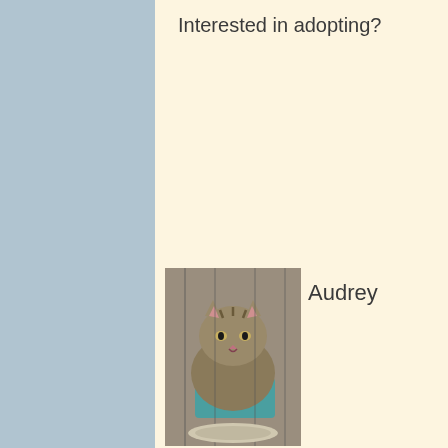Interested in adopting?
[Figure (photo): A tabby cat in a cage with a teal/blue item visible, looking at the camera. Brown tabby fur with striped markings.]
Audrey
Welcome to Summer 20
[Figure (other): Hamburger menu icon - three horizontal white lines on dark background]
[Figure (photo): Two or more kittens, black and white coloring, in what appears to be an indoor setting.]
No longer - AVAILABLE FOR ADOPTION 2 MALE ONE FEMALE